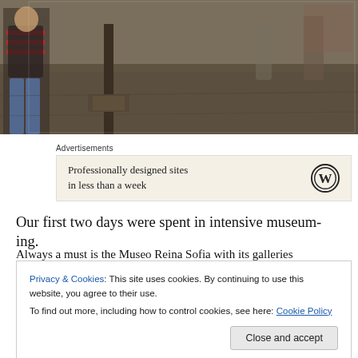[Figure (photo): Street scene photograph showing a person in a striped shirt walking on a cobblestone/paved street with a tree and people in the background]
Advertisements
[Figure (other): Advertisement banner with cream background: 'Professionally designed sites in less than a week' with WordPress logo]
Our first two days were spent in intensive museum-ing.
Always a must is the Museo Reina Sofia with its galleries
Privacy & Cookies: This site uses cookies. By continuing to use this website, you agree to their use.
To find out more, including how to control cookies, see here: Cookie Policy
Close and accept
MoMA's resistance (Spain, they argued, was technically a